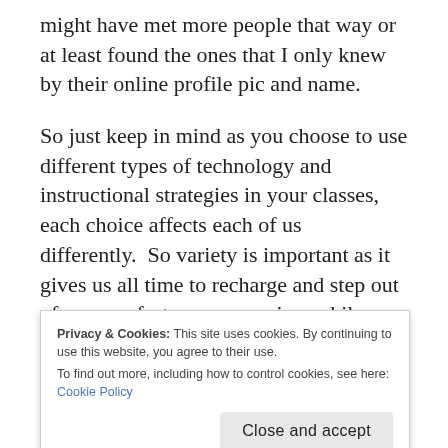might have met more people that way or at least found the ones that I only knew by their online profile pic and name.
So just keep in mind as you choose to use different types of technology and instructional strategies in your classes, each choice affects each of us differently.  So variety is important as it gives us all time to recharge and step out of our comfort zones once in a while.
Without the connectivty of online classes, I
Privacy & Cookies: This site uses cookies. By continuing to use this website, you agree to their use. To find out more, including how to control cookies, see here: Cookie Policy
Close and accept
supportive family and close friends (no one does